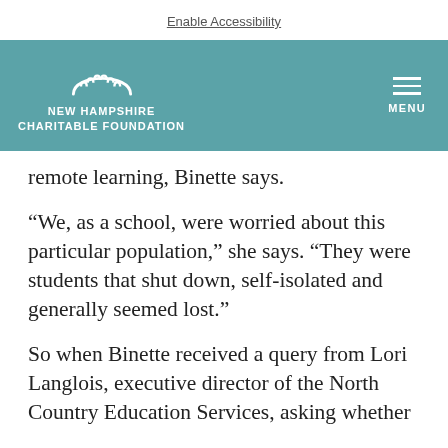Enable Accessibility
[Figure (logo): New Hampshire Charitable Foundation logo with arch icon and menu button on teal/blue-green banner]
remote learning, Binette says.
“We, as a school, were worried about this particular population,” she says. “They were students that shut down, self-isolated and generally seemed lost.”
So when Binette received a query from Lori Langlois, executive director of the North Country Education Services, asking whether